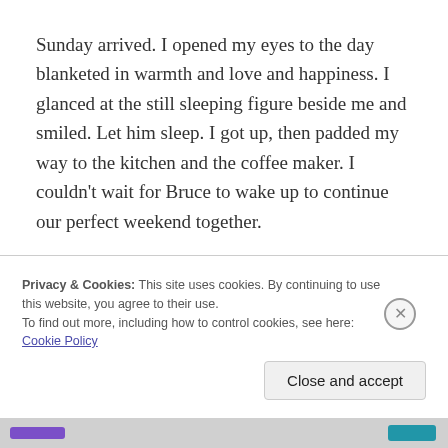Sunday arrived. I opened my eyes to the day blanketed in warmth and love and happiness. I glanced at the still sleeping figure beside me and smiled. Let him sleep. I got up, then padded my way to the kitchen and the coffee maker. I couldn't wait for Bruce to wake up to continue our perfect weekend together.

With coffee in hand I thought, Should I just take
Privacy & Cookies: This site uses cookies. By continuing to use this website, you agree to their use.
To find out more, including how to control cookies, see here: Cookie Policy
Close and accept